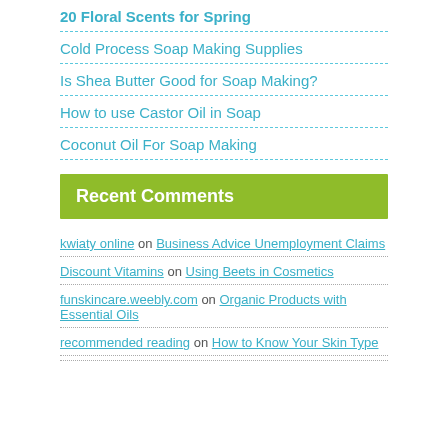20 Floral Scents for Spring
Cold Process Soap Making Supplies
Is Shea Butter Good for Soap Making?
How to use Castor Oil in Soap
Coconut Oil For Soap Making
Recent Comments
kwiaty online on Business Advice Unemployment Claims
Discount Vitamins on Using Beets in Cosmetics
funskincare.weebly.com on Organic Products with Essential Oils
recommended reading on How to Know Your Skin Type